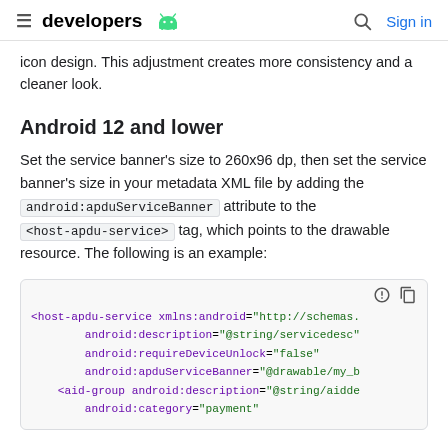developers [android logo] | [search icon] Sign in
icon design. This adjustment creates more consistency and a cleaner look.
Android 12 and lower
Set the service banner's size to 260x96 dp, then set the service banner's size in your metadata XML file by adding the android:apduServiceBanner attribute to the <host-apdu-service> tag, which points to the drawable resource. The following is an example:
[Figure (screenshot): Code block showing XML snippet for host-apdu-service with attributes xmlns:android, android:description, android:requireDeviceUnlock, android:apduServiceBanner, and aid-group element]